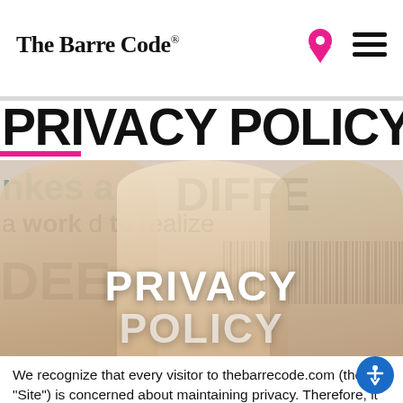The Barre Code®
PRIVACY POLICY
[Figure (photo): Three smiling women standing together in front of a wall with large text and barcodes; text overlay reads 'PRIVACY POLICY' in large white bold letters]
We recognize that every visitor to thebarrecode.com (the "Site") is concerned about maintaining privacy. Therefore, it is